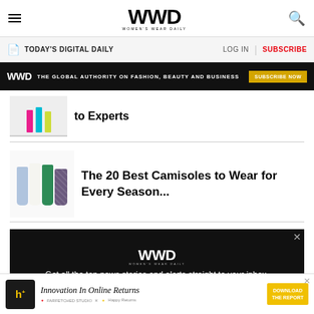WWD WOMEN'S WEAR DAILY
TODAY'S DIGITAL DAILY | LOG IN | SUBSCRIBE
WWD — THE GLOBAL AUTHORITY ON FASHION, BEAUTY AND BUSINESS — SUBSCRIBE NOW
to Experts
[Figure (photo): Colorful marker pens — pink, blue, yellow — hanging on a rack, partially visible]
The 20 Best Camisoles to Wear for Every Season...
[Figure (photo): Several camisoles in pastel blue, white, green, and printed fabric hanging together]
[Figure (infographic): WWD black promo box: Get all the top news stories and alerts straight to your inbox.]
[Figure (infographic): Advertisement: Innovation In Online Returns — Happy Returns — DOWNLOAD THE REPORT]